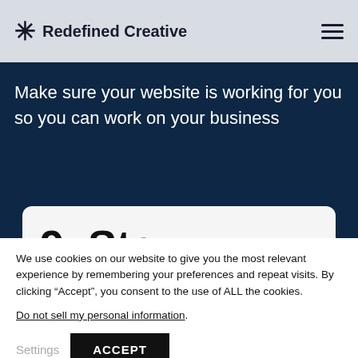Redefined Creative
Make sure your website is working for you so you can work on your business
[Figure (screenshot): Partially visible card with large bold text '9. Ste' suggesting a numbered step section beneath the hero area]
We use cookies on our website to give you the most relevant experience by remembering your preferences and repeat visits. By clicking “Accept”, you consent to the use of ALL the cookies.
Do not sell my personal information.